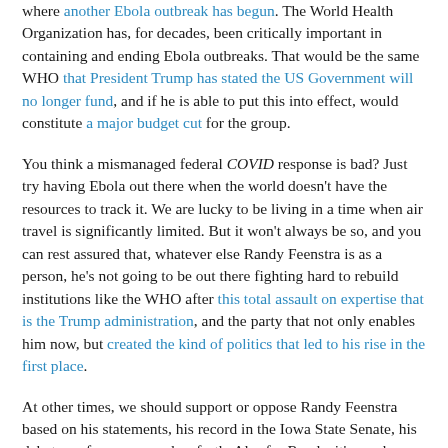where another Ebola outbreak has begun. The World Health Organization has, for decades, been critically important in containing and ending Ebola outbreaks. That would be the same WHO that President Trump has stated the US Government will no longer fund, and if he is able to put this into effect, would constitute a major budget cut for the group.
You think a mismanaged federal COVID response is bad? Just try having Ebola out there when the world doesn't have the resources to track it. We are lucky to be living in a time when air travel is significantly limited. But it won't always be so, and you can rest assured that, whatever else Randy Feenstra is as a person, he's not going to be out there fighting hard to rebuild institutions like the WHO after this total assault on expertise that is the Trump administration, and the party that not only enables him now, but created the kind of politics that led to his rise in the first place.
At other times, we should support or oppose Randy Feenstra based on his statements, his record in the Iowa State Senate, his debate performance, and so forth. Alas for Randy, it's much more straightforward this year. He is a